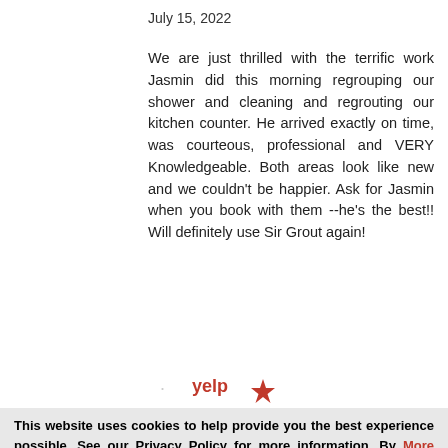July 15, 2022
We are just thrilled with the terrific work Jasmin did this morning regrouping our shower and cleaning and regrouting our kitchen counter. He arrived exactly on time, was courteous, professional and VERY Knowledgeable. Both areas look like new and we couldn't be happier. Ask for Jasmin when you book with them --he's the best!! Will definitely use Sir Grout again!
[Figure (screenshot): Partial Yelp logo and 'Request a Free' button overlay]
This website uses cookies to help provide you the best experience possible. See our Privacy Policy for more information. By continuing without changing your cookie settings within your browser, you are agreeing to our use of cookies.
More Testimonials >>
ACCEPT